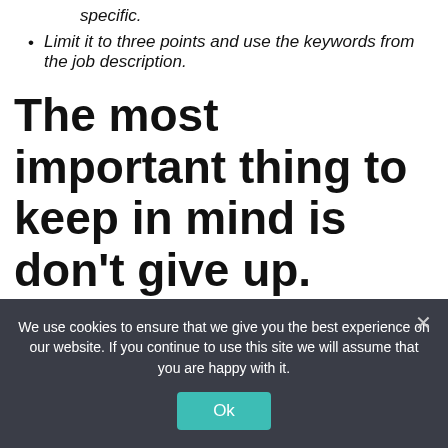specific.
Limit it to three points and use the keywords from the job description.
The most important thing to keep in mind is don't give up.
Transitioning out of teaching is hard and there is a lot of competition out there, but companies are hiring (labor shortage,
We use cookies to ensure that we give you the best experience on our website. If you continue to use this site we will assume that you are happy with it.